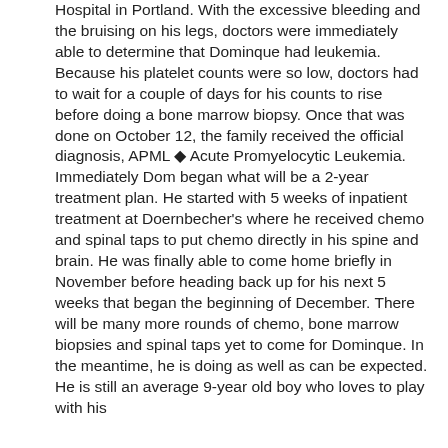Hospital in Portland. With the excessive bleeding and the bruising on his legs, doctors were immediately able to determine that Dominque had leukemia. Because his platelet counts were so low, doctors had to wait for a couple of days for his counts to rise before doing a bone marrow biopsy. Once that was done on October 12, the family received the official diagnosis, APML ◆ Acute Promyelocytic Leukemia. Immediately Dom began what will be a 2-year treatment plan. He started with 5 weeks of inpatient treatment at Doernbecher's where he received chemo and spinal taps to put chemo directly in his spine and brain. He was finally able to come home briefly in November before heading back up for his next 5 weeks that began the beginning of December. There will be many more rounds of chemo, bone marrow biopsies and spinal taps yet to come for Dominque. In the meantime, he is doing as well as can be expected. He is still an average 9-year old boy who loves to play with his